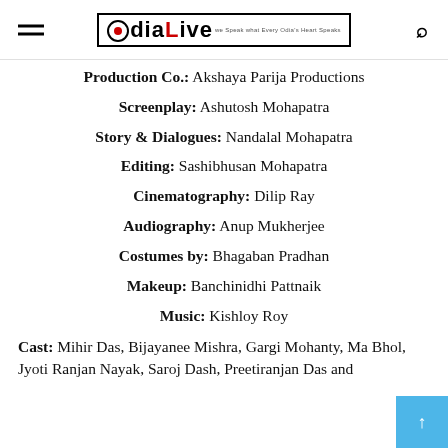OdiaLive
Production Co.: Akshaya Parija Productions
Screenplay: Ashutosh Mohapatra
Story & Dialogues: Nandalal Mohapatra
Editing: Sashibhusan Mohapatra
Cinematography: Dilip Ray
Audiography: Anup Mukherjee
Costumes by: Bhagaban Pradhan
Makeup: Banchinidhi Pattnaik
Music: Kishloy Roy
Cast: Mihir Das, Bijayanee Mishra, Gargi Mohanty, Ma Bhol, Jyoti Ranjan Nayak, Saroj Dash, Preetiranjan Das and